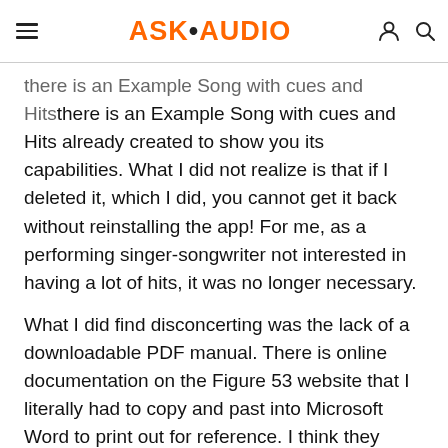ASK•AUDIO
there is an Example Song with cues and Hits already created to show you its capabilities. What I did not realize is that if I deleted it, which I did, you cannot get it back without reinstalling the app! For me, as a performing singer-songwriter not interested in having a lot of hits, it was no longer necessary.
What I did find disconcerting was the lack of a downloadable PDF manual. There is online documentation on the Figure 53 website that I literally had to copy and past into Microsoft Word to print out for reference. I think they need to deal with this ASAP. That said though, their tech support via email is exceptional. They